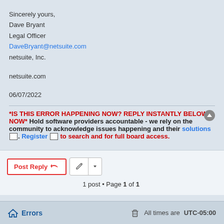Sincerely yours,
Dave Bryant
Legal Officer
DaveBryant@netsuite.com
netsuite, Inc.
netsuite.com
06/07/2022
*IS THIS ERROR HAPPENING NOW? REPLY INSTANTLY BELOW NOW* Hold software providers accountable - we rely on the community to acknowledge issues happening and their solutions. Register to search and for full board access.
Post Reply
1 post • Page 1 of 1
Errors   All times are UTC-05:00